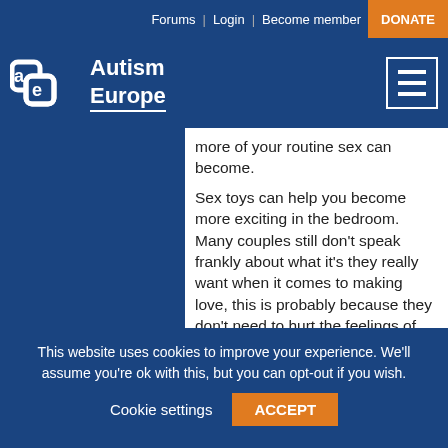Forums | Login | Become member  DONATE
[Figure (logo): Autism Europe logo with stylized 'ae' icon and text 'Autism Europe' on dark blue background, with hamburger menu icon]
more of your routine sex can become.
Sex toys can help you become more exciting in the bedroom. Many couples still don't speak frankly about what it's they really want when it comes to making love, this is probably because they don't need to hurt the feelings of the partner but it unexpected how people can easily lose their shyness when
This website uses cookies to improve your experience. We'll assume you're ok with this, but you can opt-out if you wish.
Cookie settings   ACCEPT